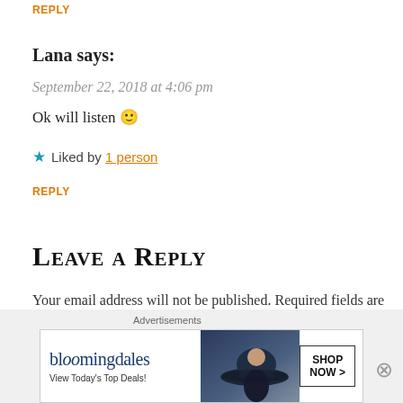REPLY
Lana says:
September 22, 2018 at 4:06 pm
Ok will listen 🙂
★ Liked by 1 person
REPLY
Leave a Reply
Your email address will not be published. Required fields are marked *
COMMENT *
[Figure (screenshot): Bloomingdale's advertisement banner with 'View Today's Top Deals!' text and 'SHOP NOW >' button]